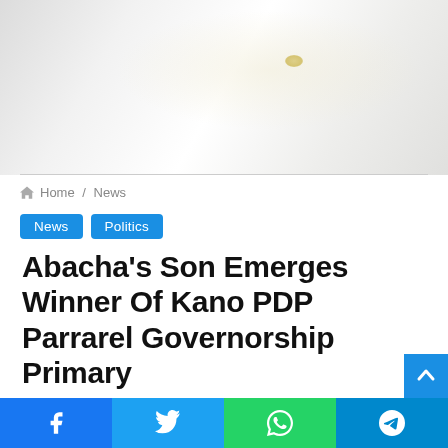[Figure (photo): Close-up photo of a person wearing white/light colored fabric clothing, with a small yellow emblem or pin visible]
Home / News
News   Politics
Abacha's Son Emerges Winner Of Kano PDP Parrarel Governorship Primary